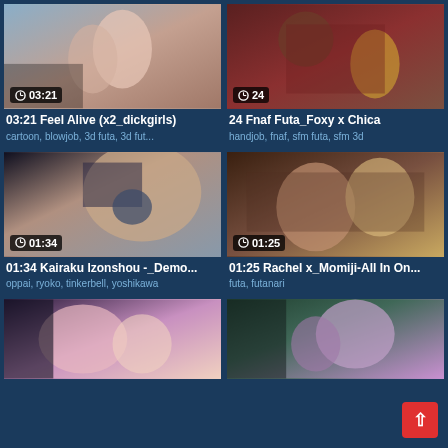[Figure (screenshot): Video thumbnail grid showing adult animated/3D content with titles and tags]
03:21 Feel Alive (x2_dickgirls)
cartoon, blowjob, 3d futa, 3d fut...
24 Fnaf Futa_Foxy x Chica
handjob, fnaf, sfm futa, sfm 3d
01:34 Kairaku Izonshou -_Demo...
oppai, ryoko, tinkerbell, yoshikawa
01:25 Rachel x_Momiji-All In On...
futa, futanari